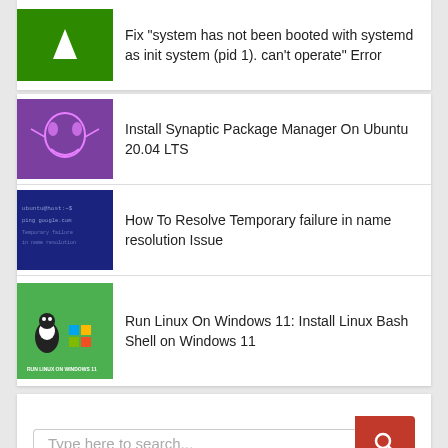Fix "system has not been booted with systemd as init system (pid 1). can't operate" Error
Install Synaptic Package Manager On Ubuntu 20.04 LTS
How To Resolve Temporary failure in name resolution Issue
Run Linux On Windows 11: Install Linux Bash Shell on Windows 11
Type here to search...